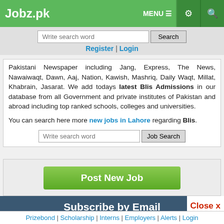Jobz.pk | MENU | (icons)
Write search word | Search | Register | Login
Pakistani Newspaper including Jang, Express, The News, Nawaiwaqt, Dawn, Aaj, Nation, Kawish, Mashriq, Daily Waqt, Millat, Khabrain, Jasarat. We add todays latest Blis Admissions in our database from all Government and private institutes of Pakistan and abroad including top ranked schools, colleges and universities.
You can search here more new jobs in Lahore regarding Blis.
Write search word | Job Search
Post New Job
Subscribe by Email
Close x
0 Share | 0 WhatsApp | 0 Tweet | 0 Share | 0 Reddit | 0 Pin
Prizebond | Scholarship | Interns | Employers | Alerts | Login